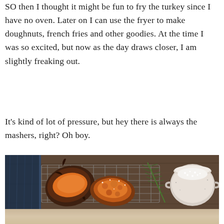SO then I thought it might be fun to fry the turkey since I have no oven. Later on I can use the fryer to make doughnuts, french fries and other goodies. At the time I was so excited, but now as the day draws closer, I am slightly freaking out.
It's kind of lot of pressure, but hey there is always the mashers, right? Oh boy.
[Figure (photo): Overhead food photography shot on a dark wooden table. A wire cooling rack holds roasted/charred sweet potatoes or squash split open showing orange flesh, alongside a sprig of fresh rosemary and a small ceramic bowl filled with coarse salt. A dark blue cloth napkin is visible on the left. Below this image, a partially visible second food photo appears.]